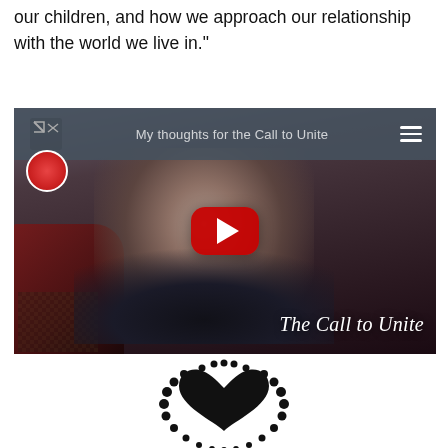our children, and how we approach our relationship with the world we live in."
[Figure (screenshot): Embedded YouTube video player screenshot showing an older man in a dark sweater seated in a chair, with a red YouTube play button in the center, navigation bar at top with logo and menu icon, channel avatar, video title 'My thoughts for the Call to Unite' in nav bar, and 'The Call to Unite' text overlay at bottom right of video.]
[Figure (logo): Partial view of a logo featuring a heart shape made of dots/circles arranged in a circular pattern, visible at the bottom of the page.]